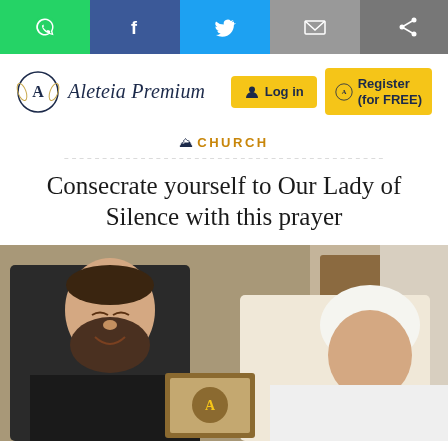Social share bar: WhatsApp, Facebook, Twitter, Email, Share
[Figure (logo): Aleteia Premium logo with circular emblem and italic logotype text, flanked by Log in and Register (for FREE) buttons]
CHURCH
Consecrate yourself to Our Lady of Silence with this prayer
[Figure (photo): A Franciscan friar in black habit with beard smiling, next to Pope Francis in white vestments, both looking at a framed image being presented]